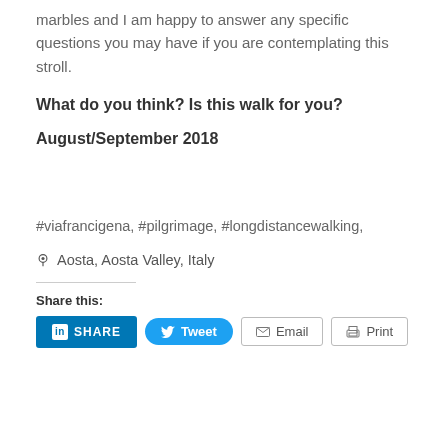marbles and I am happy to answer any specific questions you may have if you are contemplating this stroll.
What do you think? Is this walk for you?
August/September 2018
#viafrancigena, #pilgrimage, #longdistancewalking,
Aosta, Aosta Valley, Italy
Share this:
in SHARE  Tweet  Email  Print